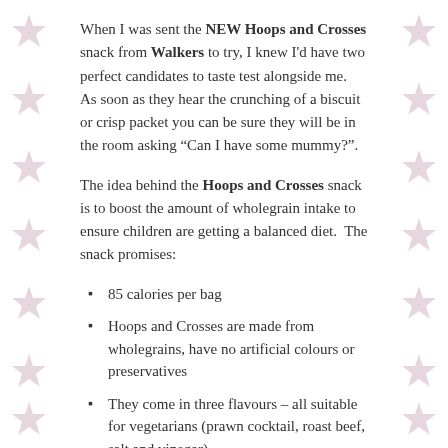When I was sent the NEW Hoops and Crosses snack from Walkers to try, I knew I'd have two perfect candidates to taste test alongside me.  As soon as they hear the crunching of a biscuit or crisp packet you can be sure they will be in the room asking "Can I have some mummy?".
The idea behind the Hoops and Crosses snack is to boost the amount of wholegrain intake to ensure children are getting a balanced diet.  The snack promises:
85 calories per bag
Hoops and Crosses are made from wholegrains, have no artificial colours or preservatives
They come in three flavours – all suitable for vegetarians (prawn cocktail, roast beef, salt and vinegar)